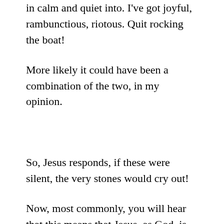in calm and quiet into. I've got joyful, rambunctious, riotous. Quit rocking the boat!
More likely it could have been a combination of the two, in my opinion.
So, Jesus responds, if these were silent, the very stones would cry out!
Now, most commonly, you will hear that this means that Jesus, as God, is going to be worshipped no matter what. If the people don't recognize him and cry out in worship, then nature itself will cry out in worship. For this is his creation as well. God is not just a God of